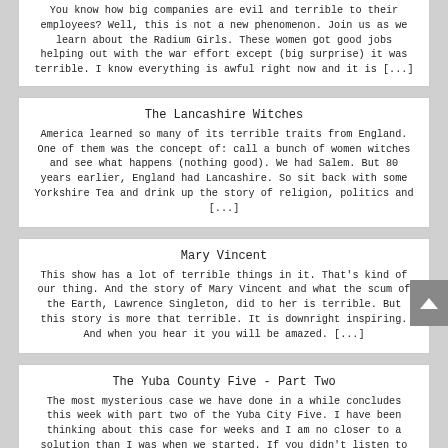You know how big companies are evil and terrible to their employees? Well, this is not a new phenomenon. Join us as we learn about the Radium Girls. These women got good jobs helping out with the war effort except (big surprise) it was terrible. I know everything is awful right now and it is [...]
The Lancashire Witches
America learned so many of its terrible traits from England. One of them was the concept of: call a bunch of women witches and see what happens (nothing good). We had Salem. But 80 years earlier, England had Lancashire. So sit back with some Yorkshire Tea and drink up the story of religion, politics and [...]
Mary Vincent
This show has a lot of terrible things in it. That's kind of our thing. And the story of Mary Vincent and what the scum of the Earth, Lawrence Singleton, did to her is terrible. But this story is more that terrible. It is downright inspiring. And when you hear it you will be amazed. [...]
The Yuba County Five - Part Two
The most mysterious case we have done in a while concludes this week with part two of the Yuba City Five. I have been thinking about this case for weeks and I am no closer to a solution than I was when we started. If you didn't listen to part one, go back and listen [...]